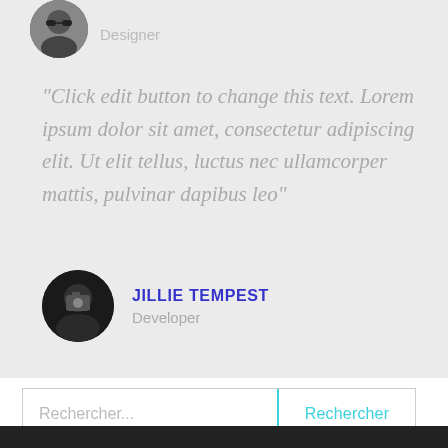[Figure (photo): Circular avatar photo of a person wearing sunglasses, black and white, partially cropped at top]
Designer
"Click edit button to change this text. Lorem ipsum dolor sit amet, consectetur adipiscing elit. Ut elit tellus, luctus nec ullamcorper mattis, pulvinar dapibus leo"
[Figure (photo): Circular avatar photo of a person holding a camera in front of their face, dark background]
JILLIE TEMPEST
Developer
Rechercher...
Rechercher